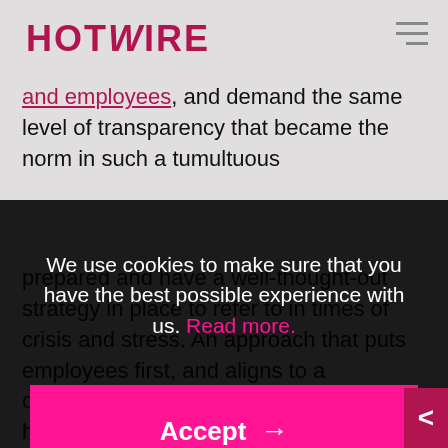HOTWIRE
and employees, and demand the same level of transparency that became the norm in such a tumultuous
We use cookies to make sure that you have the best possible experience with us. Read more.
Accept →
Essential Only
prepared and have a well-thought-out strategy in place to refer to in times of crisis and stress. An approach that puts employees first, and aligns to a company's state and lived values, is key here. Backing up the discourse